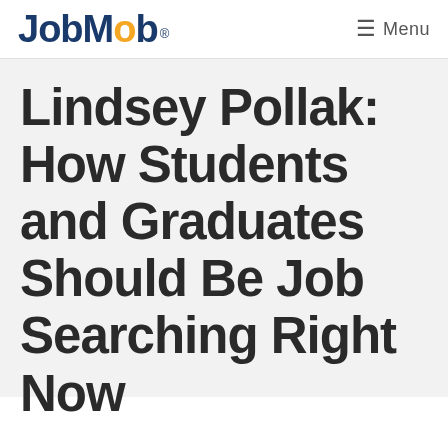JobMob® ≡ Menu
Lindsey Pollak: How Students and Graduates Should Be Job Searching Right Now